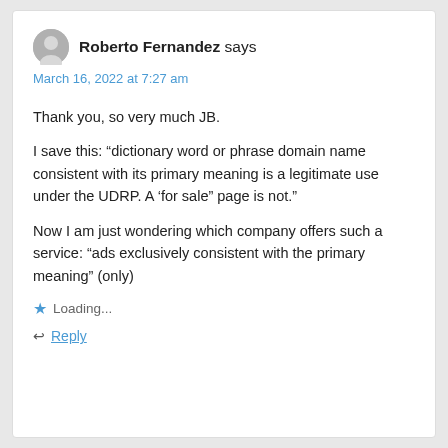Roberto Fernandez says
March 16, 2022 at 7:27 am
Thank you, so very much JB.
I save this: “dictionary word or phrase domain name consistent with its primary meaning is a legitimate use under the UDRP. A ‘for sale” page is not.”
Now I am just wondering which company offers such a service: “ads exclusively consistent with the primary meaning” (only)
Loading...
Reply